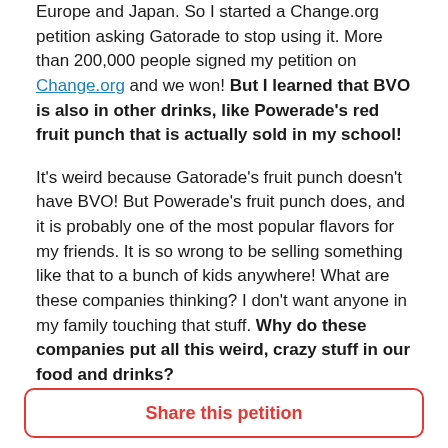Europe and Japan. So I started a Change.org petition asking Gatorade to stop using it. More than 200,000 people signed my petition on Change.org and we won! But I learned that BVO is also in other drinks, like Powerade's red fruit punch that is actually sold in my school!
It's weird because Gatorade's fruit punch doesn't have BVO! But Powerade's fruit punch does, and it is probably one of the most popular flavors for my friends. It is so wrong to be selling something like that to a bunch of kids anywhere! What are these companies thinking? I don't want anyone in my family touching that stuff. Why do these companies put all this weird, crazy stuff in our food and drinks?
After Gatorade agreed to remove BVO from their
Share this petition